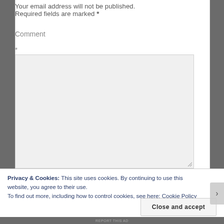Your email address will not be published. Required fields are marked *
Comment
*
[Figure (screenshot): Empty comment text area input box with light grey background and resize handle in bottom-right corner]
Privacy & Cookies: This site uses cookies. By continuing to use this website, you agree to their use.
To find out more, including how to control cookies, see here: Cookie Policy
Close and accept
REPORT THIS AD